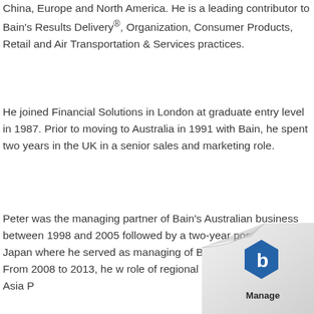China, Europe and North America. He is a leading contributor to Bain's Results Delivery®, Organization, Consumer Products, Retail and Air Transportation & Services practices.
He joined Financial Solutions in London at graduate entry level in 1987. Prior to moving to Australia in 1991 with Bain, he spent two years in the UK in a senior sales and marketing role.
Peter was the managing partner of Bain's Australian business between 1998 and 2005 followed by a two-year posting to Japan where he served as managing [partner] of Bain's Tokyo office. From 2008 to 2013, he w[as in the] role of regional managing director for Asia P[acific].
[Figure (logo): Page curl effect in bottom-right corner with a blue hexagonal Bain logo and the word 'Manage' beneath it]